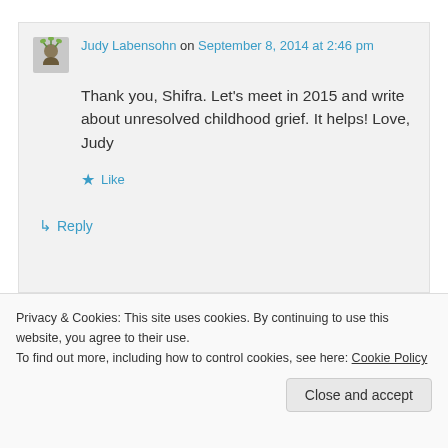Judy Labensohn on September 8, 2014 at 2:46 pm
Thank you, Shifra. Let's meet in 2015 and write about unresolved childhood grief. It helps! Love, Judy
Like
Reply
Privacy & Cookies: This site uses cookies. By continuing to use this website, you agree to their use. To find out more, including how to control cookies, see here: Cookie Policy
Close and accept